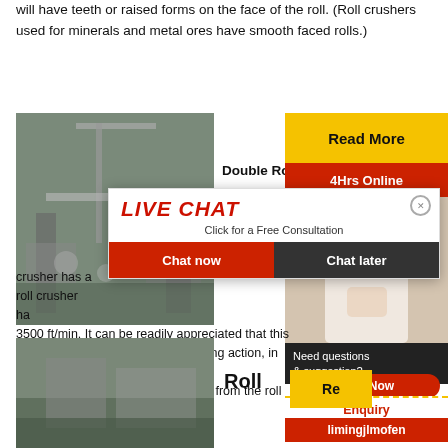will have teeth or raised forms on the face of the roll. (Roll crushers used for minerals and metal ores have smooth faced rolls.)
[Figure (photo): Industrial machinery/crusher site photo]
[Figure (infographic): Live Chat popup with 'LIVE CHAT - Click for a Free Consultation', Chat now and Chat later buttons, and a customer service representative photo]
crusher has a ... roll crusher ha... 3500 ft/min. It can be readily appreciated that this induces an extremely violent crushing action, in co... the 3- to 4-in. knobs which protrude from the roll s...
[Figure (photo): Second industrial site photo at bottom left]
Roll
Read More
Double Roll i...
4Hrs Online
Need questions & suggestion?
Chat Now
Enquiry
Re limingjlmofen